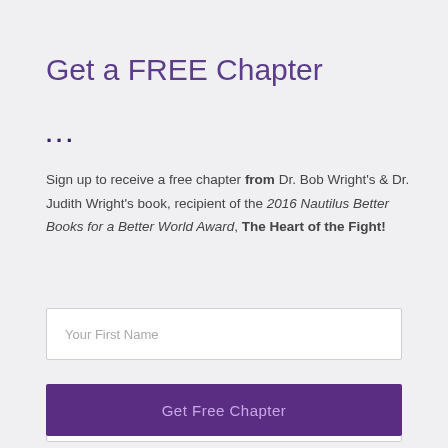Get a FREE Chapter
…
Sign up to receive a free chapter from Dr. Bob Wright's & Dr. Judith Wright's book, recipient of the 2016 Nautilus Better Books for a Better World Award, The Heart of the Fight!
Your First Name
Your Email
Get Free Chapter